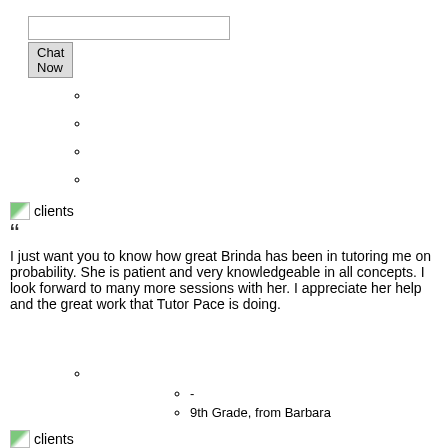[Figure (other): Chat input box and Chat Now button UI element]
[Figure (illustration): clients icon image]
“I just want you to know how great Brinda has been in tutoring me on probability. She is patient and very knowledgeable in all concepts. I look forward to many more sessions with her. I appreciate her help and the great work that Tutor Pace is doing.
-
9th Grade, from Barbara
[Figure (illustration): clients icon image]
Thank you for your excellent tutoring services. It has surely made a lot of difference in our child's academic performance.